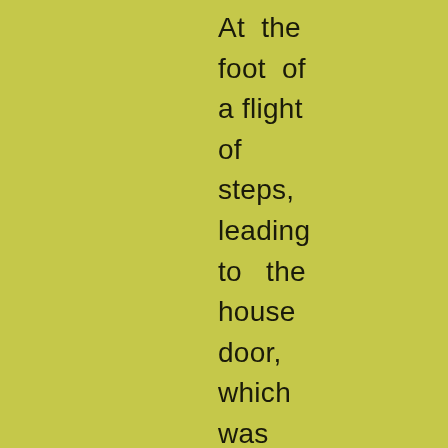At the foot of a flight of steps, leading to the house door, which was guarded on either side by an American aloe in a